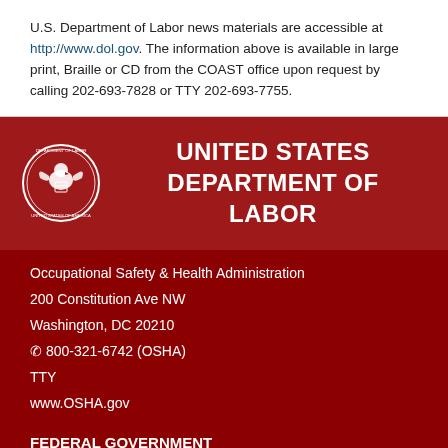U.S. Department of Labor news materials are accessible at http://www.dol.gov. The information above is available in large print, Braille or CD from the COAST office upon request by calling 202-693-7828 or TTY 202-693-7755.
[Figure (logo): United States Department of Labor seal/logo, circular emblem with eagle]
UNITED STATES DEPARTMENT OF LABOR
Occupational Safety & Health Administration
200 Constitution Ave NW
Washington, DC 20210
☎ 800-321-6742 (OSHA)
TTY
www.OSHA.gov
FEDERAL GOVERNMENT
White House